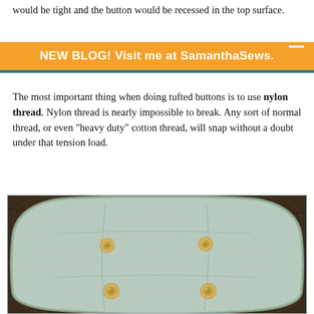would be tight and the button would be recessed in the top surface.
This was what proved so difficult because of our foam at the top plugs...
NEW BLOG! Visit me at SamanthaSews.
The most important thing when doing tufted buttons is to use nylon thread. Nylon thread is nearly impossible to break. Any sort of normal thread, or even “heavy duty” cotton thread, will snap without a doubt under that tension load.
[Figure (photo): Top view of a tufted cushion with light speckled fabric and four small wooden tufted buttons, one in each quadrant, placed on a dark wooden surface.]